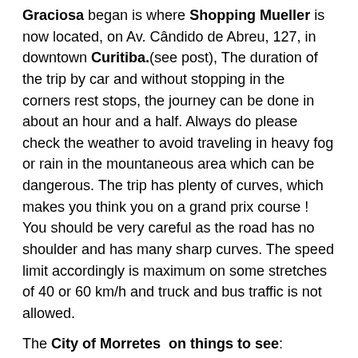Graciosa began is where Shopping Mueller is now located, on Av. Cândido de Abreu, 127, in downtown Curitiba.(see post), The duration of the trip by car and without stopping in the corners rest stops, the journey can be done in about an hour and a half. Always do please check the weather to avoid traveling in heavy fog or rain in the mountaneous area which can be dangerous. The trip has plenty of curves, which makes you think you on a grand prix course ! You should be very careful as the road has no shoulder and has many sharp curves. The speed limit accordingly is maximum on some stretches of 40 or 60 km/h and truck and bus traffic is not allowed.
The City of Morretes  on things to see: http://www.morretes.pr.gov.br/pagina/908_Turismo-.html